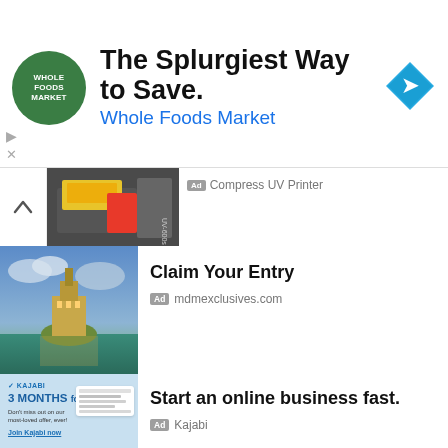[Figure (screenshot): Whole Foods Market banner advertisement with green circular logo, headline 'The Splurgiest Way to Save.' and blue navigation arrow icon]
The Splurgiest Way to Save.
Whole Foods Market
[Figure (screenshot): Partial printer advertisement thumbnail with chevron up arrow, showing a UV printer image. Ad label and 'Compress UV Printer' text partially visible.]
[Figure (photo): Mont Saint-Michel illuminated at night reflected in water, advertisement thumbnail for mdmexclusives.com]
Claim Your Entry
Ad  mdmexclusives.com
[Figure (screenshot): Kajabi advertisement thumbnail showing '3 MONTHS for $99' offer with blue background and person smiling]
Start an online business fast.
Ad  Kajabi
[Figure (illustration): Blue sky with white clouds, advertisement thumbnail for Liquid Web]
Special Introductory Offer
Ad  Liquid Web